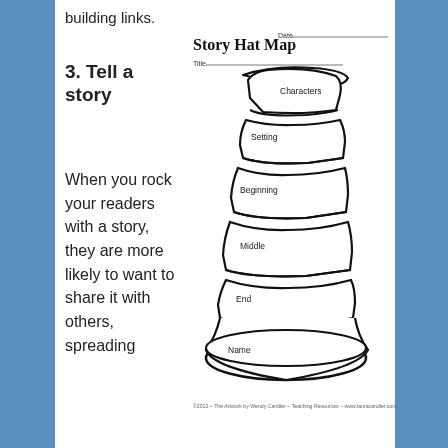building links.
3. Tell a story
When you rock your readers with a story, they are more likely to want to share it with others, spreading
[Figure (illustration): Story Hat Map worksheet showing a Cat in the Hat style tall hat divided into sections labeled Characters, Setting, Beginning, Middle, End, and Name at the brim. Has fields for Date and Title at the top. Footer reads: ©2012 - The Artwork by Wendy Candler - Teaching Resources - www.lauracandler.com]